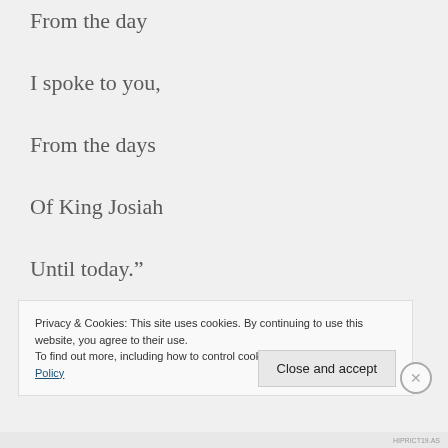From the day
I spoke to you,
From the days
Of King Josiah
Until today.”
Privacy & Cookies: This site uses cookies. By continuing to use this website, you agree to their use.
To find out more, including how to control cookies, see here: Cookie Policy